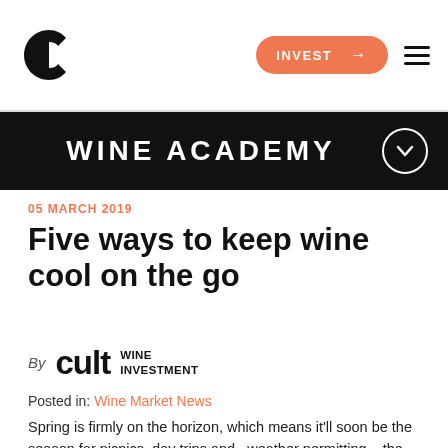INVEST → ≡
WINE ACADEMY
05 MARCH 2019
Five ways to keep wine cool on the go
By cult WINE INVESTMENT
Posted in: Wine Market News
Spring is firmly on the horizon, which means it'll soon be the season for picnics, day trips and –weather permitting – the odd optimistic barbecue. Raising a glass to the great outdoors